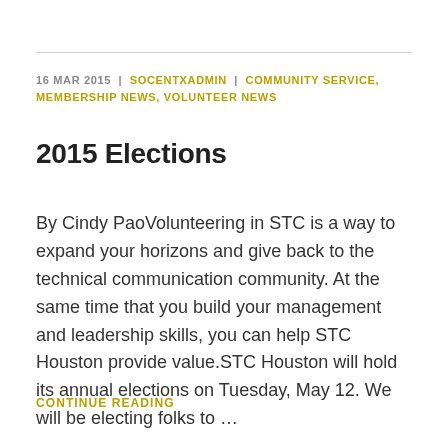16 MAR 2015  |  SOCENTXADMIN  |  COMMUNITY SERVICE, MEMBERSHIP NEWS, VOLUNTEER NEWS
2015 Elections
By Cindy PaoVolunteering in STC is a way to expand your horizons and give back to the technical communication community. At the same time that you build your management and leadership skills, you can help STC Houston provide value.STC Houston will hold its annual elections on Tuesday, May 12. We will be electing folks to …
CONTINUE READING